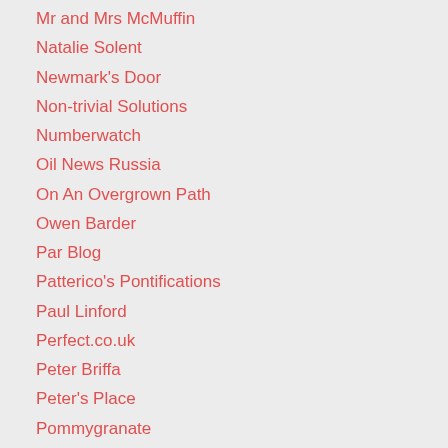Mr and Mrs McMuffin
Natalie Solent
Newmark's Door
Non-trivial Solutions
Numberwatch
Oil News Russia
On An Overgrown Path
Owen Barder
Par Blog
Patterico's Pontifications
Paul Linford
Perfect.co.uk
Peter Briffa
Peter's Place
Pommygranate
PooterGeek